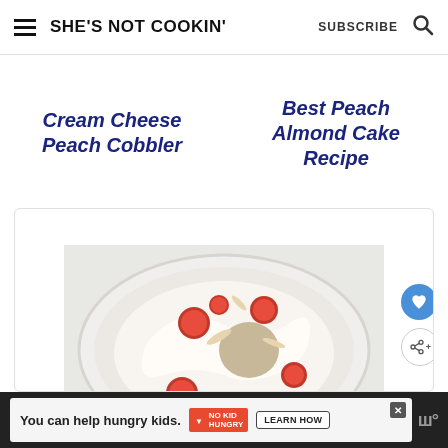SHE'S NOT COOKIN'  SUBSCRIBE
Cream Cheese Peach Cobbler
Best Peach Almond Cake Recipe
[Figure (photo): Top-down view of a white plate with a cake or dessert topped with white cream frosting, fresh raspberries, and sliced almonds]
You can help hungry kids. NO KID HUNGRY  LEARN HOW